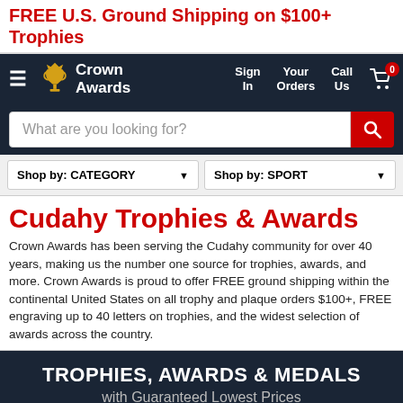FREE U.S. Ground Shipping on $100+ Trophies
[Figure (logo): Crown Awards logo with trophy icon and navigation bar including Sign In, Your Orders, Call Us, and cart with 0 items]
What are you looking for?
Shop by: CATEGORY   Shop by: SPORT
Cudahy Trophies & Awards
Crown Awards has been serving the Cudahy community for over 40 years, making us the number one source for trophies, awards, and more. Crown Awards is proud to offer FREE ground shipping within the continental United States on all trophy and plaque orders $100+, FREE engraving up to 40 letters on trophies, and the widest selection of awards across the country.
TROPHIES, AWARDS & MEDALS
with Guaranteed Lowest Prices